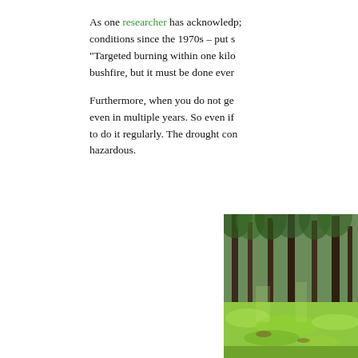As one researcher has acknowledged, worsening conditions since the 1970s – put s... "Targeted burning within one kilo... bushfire, but it must be done ever...
Furthermore, when you do not ge... even in multiple years. So even if... to do it regularly. The drought con... hazardous.
[Figure (photo): Photograph of a forest scene with tall trees, green grassy undergrowth, and forest floor visible. Trees appear to be eucalyptus or pine species in an open woodland setting.]